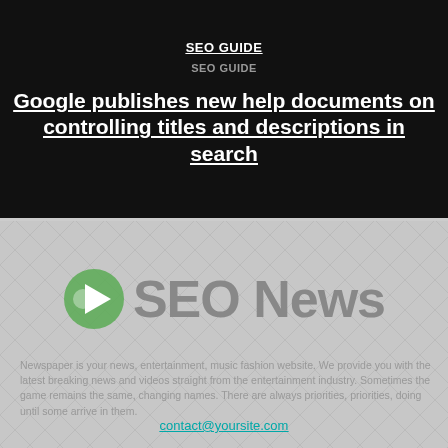SEO GUIDE
SEO GUIDE
Google publishes new help documents on controlling titles and descriptions in search
[Figure (logo): SEO News logo with green play-button arrow icon and gray 'SEO News' text]
Newspaper is your news, entertainment, music fashion website. We provide you with the latest breaking news and videos straight from the entertainment industry. Sometimes the game remains the same, changing names. There are always priorities, priorities, doing until some arrive in them.
contact@yoursite.com